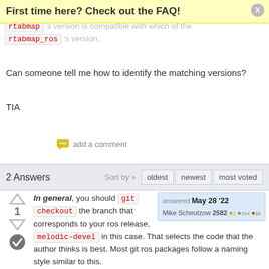First time here? Check out the FAQ!
there is less information provided as to which of the rtabmap 's version is compatible with which of the rtabmap_ros 's version.
Can someone tell me how to identify the matching versions?
TIA
add a comment
2 Answers   Sort by » oldest   newest   most voted
In general, you should git checkout the branch that corresponds to your ros release, melodic-devel in this case. That selects the code that the author thinks is best. Most git ros packages follow a naming style similar to this.
answered May 28 '22  Mike Scheutzow 2582 ●1 ●264 ●32
Of course, if the code author tells you branch master will work, that's an alternative too.